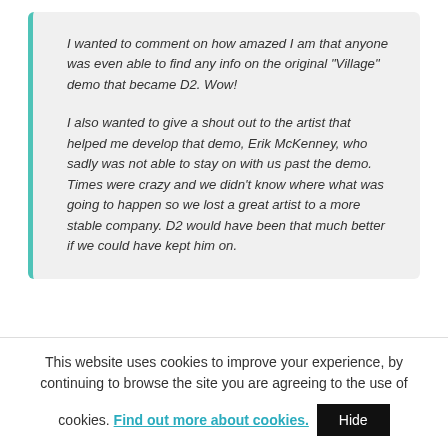I wanted to comment on how amazed I am that anyone was even able to find any info on the original "Village" demo that became D2. Wow!

I also wanted to give a shout out to the artist that helped me develop that demo, Erik McKenney, who sadly was not able to stay on with us past the demo. Times were crazy and we didn't know where what was going to happen so we lost a great artist to a more stable company. D2 would have been that much better if we could have kept him on.
This website uses cookies to improve your experience, by continuing to browse the site you are agreeing to the use of cookies. Find out more about cookies. Hide